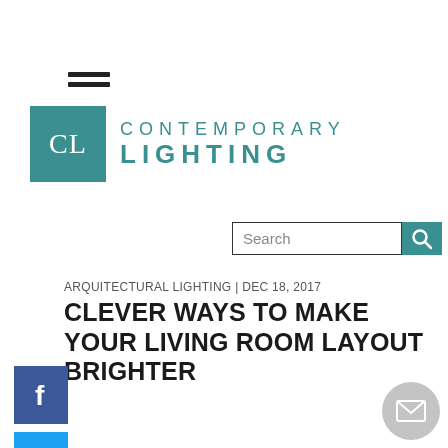[Figure (logo): Hamburger menu icon (three horizontal lines)]
[Figure (logo): Contemporary Lighting logo with teal CL box and text CONTEMPORARY LIGHTING]
[Figure (other): Search bar with teal search button]
ARQUITECTURAL LIGHTING | DEC 18, 2017
CLEVER WAYS TO MAKE YOUR LIVING ROOM LAYOUT BRIGHTER
[Figure (other): Facebook share button (blue square with f icon)]
[Figure (other): Twitter share button (light blue square with bird icon)]
[Figure (other): Mail/contact button (grey circle with envelope icon)]